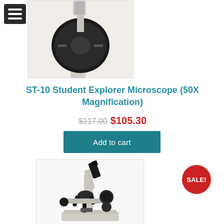[Figure (photo): Partial top view of a student microscope showing the stage and objective turret from above, cropped at top of page]
ST-10 Student Explorer Microscope (50X Magnification)
$117.00 $105.30
Add to cart
[Figure (photo): Full student compound microscope (ST-10) in light gray/beige color, shown on white background with black eyepiece, objectives, and stage knobs]
SALE!